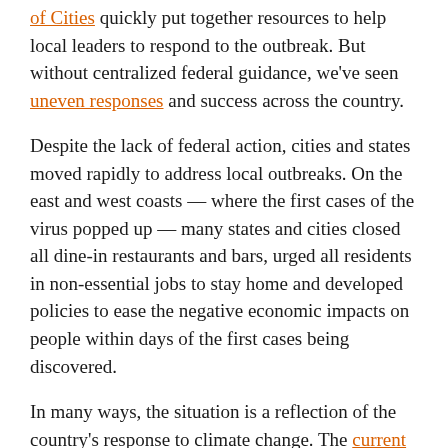of Cities quickly put together resources to help local leaders to respond to the outbreak. But without centralized federal guidance, we've seen uneven responses and success across the country.
Despite the lack of federal action, cities and states moved rapidly to address local outbreaks. On the east and west coasts — where the first cases of the virus popped up — many states and cities closed all dine-in restaurants and bars, urged all residents in non-essential jobs to stay home and developed policies to ease the negative economic impacts on people within days of the first cases being discovered.
In many ways, the situation is a reflection of the country's response to climate change. The current administration has downplayed or outright ignored the warnings from scientists about the dire effects climate change will have on the planet. To fill the void, local governments have stepped up.